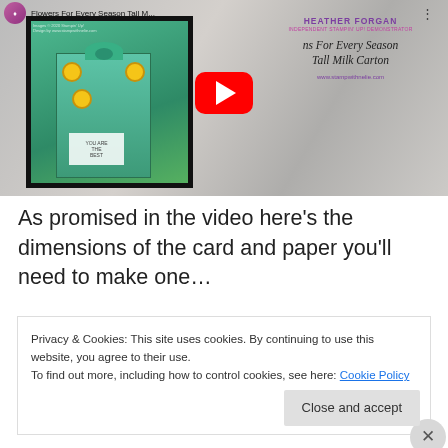[Figure (screenshot): YouTube video thumbnail for 'Flowers For Every Season Tall M...' showing a stamped tall milk carton gift box decorated with sunflowers, with a YouTube play button overlay. Shows channel name Heather Forgan, Independent Stampin' Up! Demonstrator, and script text 'Flowers For Every Season Tall Milk Carton' with website www.stampwithnelie.com]
As promised in the video here’s the dimensions of the card and paper you’ll need to make one…
Privacy & Cookies: This site uses cookies. By continuing to use this website, you agree to their use.
To find out more, including how to control cookies, see here: Cookie Policy